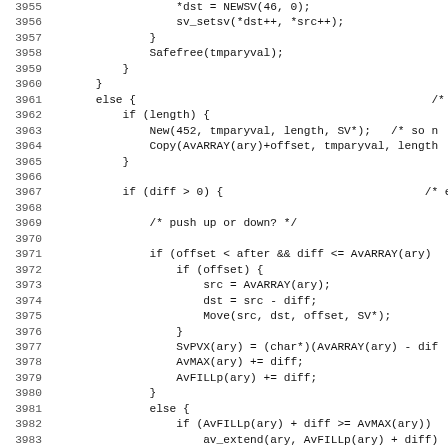[Figure (other): Source code listing in monospace font showing C/Perl code lines numbered 3955–3986, including array manipulation functions like NEWSV, sv_setsv, Safefree, New, Copy, AvARRAY, Move, SvPVX, AvMAX, AvFILLp, av_extend]